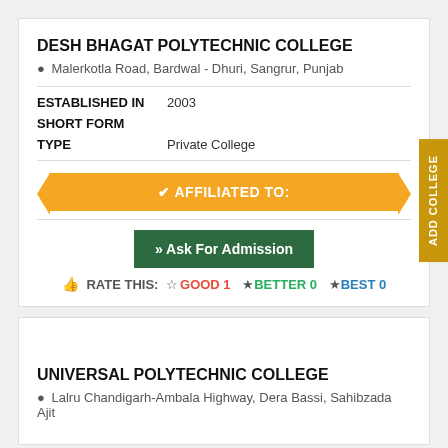DESH BHAGAT POLYTECHNIC COLLEGE
Malerkotla Road, Bardwal - Dhuri, Sangrur, Punjab
ESTABLISHED IN 2003
SHORT FORM
TYPE  Private College
✔ AFFILIATED TO:
» Ask For Admission
RATE THIS: GOOD 1  BETTER 0  BEST 0
UNIVERSAL POLYTECHNIC COLLEGE
Lalru Chandigarh-Ambala Highway, Dera Bassi, Sahibzada Ajit